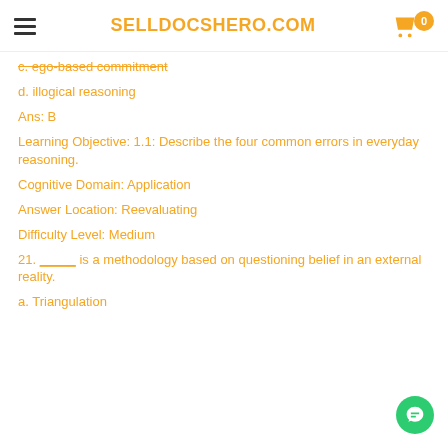SELLDOCSHERO.COM
c. ego-based commitment
d. illogical reasoning
Ans: B
Learning Objective: 1.1: Describe the four common errors in everyday reasoning.
Cognitive Domain: Application
Answer Location: Reevaluating
Difficulty Level: Medium
21. _____ is a methodology based on questioning belief in an external reality.
a. Triangulation